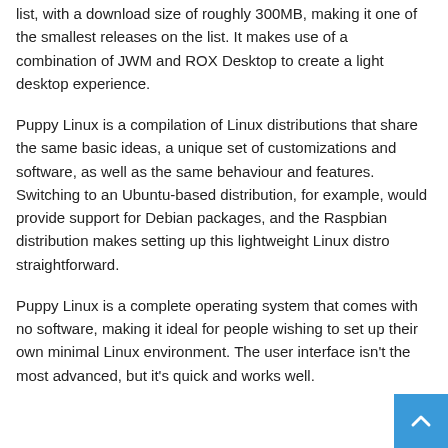list, with a download size of roughly 300MB, making it one of the smallest releases on the list. It makes use of a combination of JWM and ROX Desktop to create a light desktop experience.
Puppy Linux is a compilation of Linux distributions that share the same basic ideas, a unique set of customizations and software, as well as the same behaviour and features. Switching to an Ubuntu-based distribution, for example, would provide support for Debian packages, and the Raspbian distribution makes setting up this lightweight Linux distro straightforward.
Puppy Linux is a complete operating system that comes with no software, making it ideal for people wishing to set up their own minimal Linux environment. The user interface isn't the most advanced, but it's quick and works well.